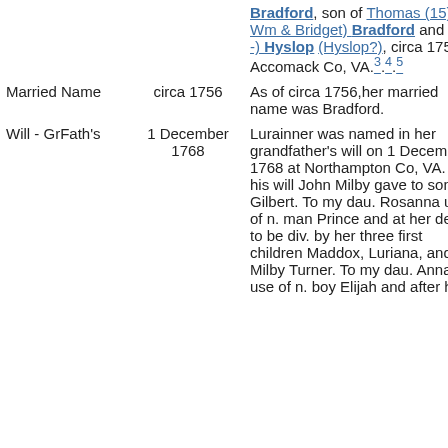| Event | Date | Description |
| --- | --- | --- |
|  |  | Bradford, son of Thomas (15) (of Wm & Bridget) Bradford and (-----) Hyslop (Hyslop?), circa 1756 at Accomack Co, VA. 3.4.5 |
| Married Name | circa 1756 | As of circa 1756,her married name was Bradford. |
| Will - GrFath's | 1 December 1768 | Lurainner was named in her grandfather's will on 1 December 1768 at Northampton Co, VA. In his will John Milby gave to son Gilbert. To my dau. Rosanna use of n. man Prince and at her death to be div. by her three first children Maddox, Luriana, and Milby Turner. To my dau. Annaitta use of n. boy Elijah and after her... |